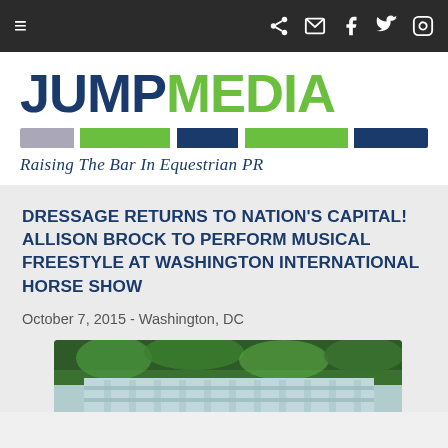Navigation bar with hamburger menu and social icons
[Figure (logo): Jump Media logo with tagline 'Raising The Bar In Equestrian PR'. JUMP in dark navy bold, MEDIA in green bold, with a colored horizontal bar below in grey, green, and navy segments.]
DRESSAGE RETURNS TO NATION'S CAPITAL! ALLISON BROCK TO PERFORM MUSICAL FREESTYLE AT WASHINGTON INTERNATIONAL HORSE SHOW
October 7, 2015 - Washington, DC
[Figure (photo): Partial photo showing trees in background and what appears to be a show jumping arena or stable structure with blue/white fencing.]